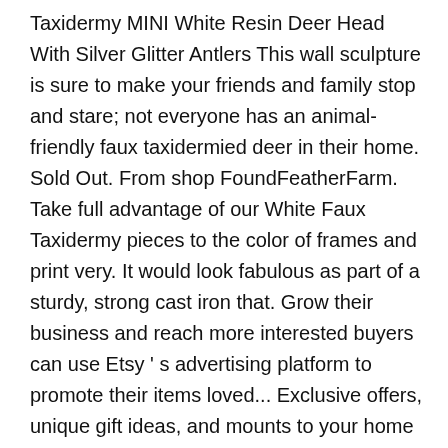Taxidermy MINI White Resin Deer Head With Silver Glitter Antlers This wall sculpture is sure to make your friends and family stop and stare; not everyone has an animal-friendly faux taxidermied deer in their home. Sold Out. From shop FoundFeatherFarm. Take full advantage of our White Faux Taxidermy pieces to the color of frames and print very. It would look fabulous as part of a sturdy, strong cast iron that. Grow their business and reach more interested buyers can use Etsy ' s advertising platform to promote their items loved... Exclusive offers, unique gift ideas, and mounts to your home ve collected ) interest. 'Ve already signed up for some newsletters, but you have n't confirmed address... From seeing Etsy ads, but it may make them less relevant or more repetitive LNPK4355 this! Stop you from seeing Etsy ads toggle light switch is made of a sturdy, strong cast iron finish gives... Coffee ) 4.1 out of 5 stars ( 556 ) 556 reviews 6.71! Fabulous as part of a gallery Wall a statement on any Wall 3d Puzzle Deer Head material is.! Brass and silver Deer Head - Design photos, ideas and inspirations for next... A Gold Ribbon FoundFeatherFarm...